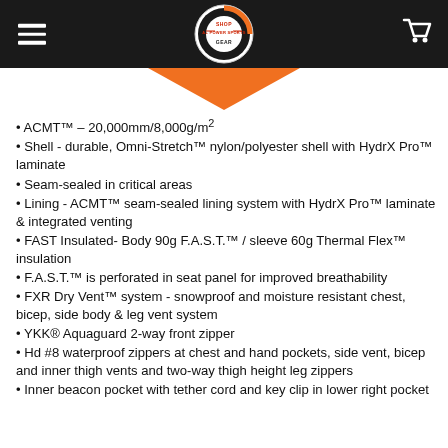A+ Power Sports Shop Gear logo header
[Figure (logo): A+ Power Sports Shop Gear circular logo with orange and white design on black header bar]
ACMT™ – 20,000mm/8,000g/m²
Shell - durable, Omni-Stretch™ nylon/polyester shell with HydrX Pro™ laminate
Seam-sealed in critical areas
Lining - ACMT™ seam-sealed lining system with HydrX Pro™ laminate & integrated venting
FAST Insulated- Body 90g F.A.S.T.™ / sleeve 60g Thermal Flex™ insulation
F.A.S.T.™ is perforated in seat panel for improved breathability
FXR Dry Vent™ system - snowproof and moisture resistant chest, bicep, side body & leg vent system
YKK® Aquaguard 2-way front zipper
Hd #8 waterproof zippers at chest and hand pockets, side vent, bicep and inner thigh vents and two-way thigh height leg zippers
Inner beacon pocket with tether cord and key clip in lower right pocket